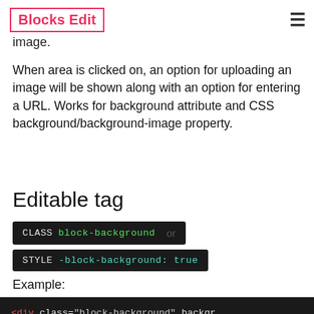Blocks Edit
image.
When area is clicked on, an option for uploading an image will be shown along with an option for entering a URL. Works for background attribute and CSS background/background-image property.
Editable tag
CLASS block-background or
STYLE -block-background: true
Example:
[Figure (screenshot): Code block showing: <div class="block-background" backgr...]